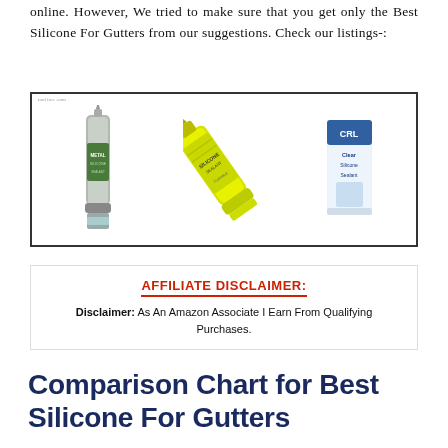online. However, We tried to make sure that you get only the Best Silicone For Gutters from our suggestions. Check our listings-:
[Figure (photo): Three silicone sealant products: a metal silicone caulk tube, a yellow tube of silicone sealant, and a CRL Clear Silicone Sealant package]
AFFILIATE DISCLAIMER:
Disclaimer: As An Amazon Associate I Earn From Qualifying Purchases.
Comparison Chart for Best Silicone For Gutters